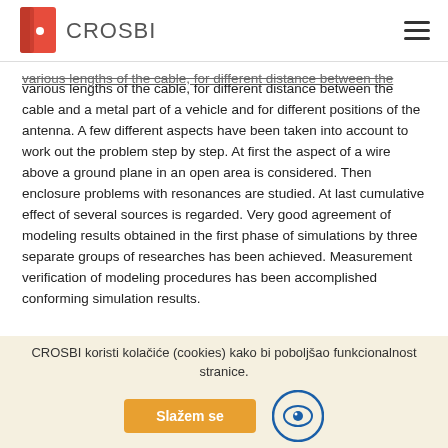CROSBI
various lengths of the cable, for different distance between the cable and a metal part of a vehicle and for different positions of the antenna. A few different aspects have been taken into account to work out the problem step by step. At first the aspect of a wire above a ground plane in an open area is considered. Then enclosure problems with resonances are studied. At last cumulative effect of several sources is regarded. Very good agreement of modeling results obtained in the first phase of simulations by three separate groups of researches has been achieved. Measurement verification of modeling procedures has been accomplished conforming simulation results.
Izvorni jezik
Engleski
Znanstvena područja
Elektrotehnika
CROSBI koristi kolačiće (cookies) kako bi poboljšao funkcionalnost stranice.